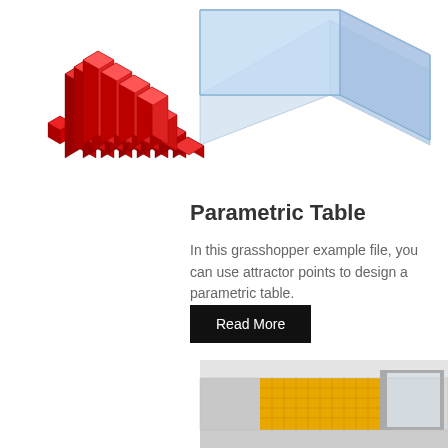[Figure (illustration): 3D rendering of a parametric table made of red cubic blocks arranged in a staircase/gradient pattern, with a blue transparent glass panel behind it, on a white background.]
Parametric Table
In this grasshopper example file, you can use attractor points to design a parametric table.
Read More
[Figure (illustration): Architectural interior rendering showing a room with yellow mesh/grid parametric wall panel and a glass door/window frame, gray walls and ceiling.]